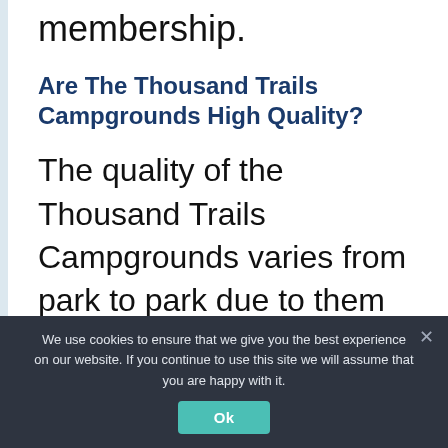membership.
Are The Thousand Trails Campgrounds High Quality?
The quality of the Thousand Trails Campgrounds varies from park to park due to them being privately owned.
We use cookies to ensure that we give you the best experience on our website. If you continue to use this site we will assume that you are happy with it.